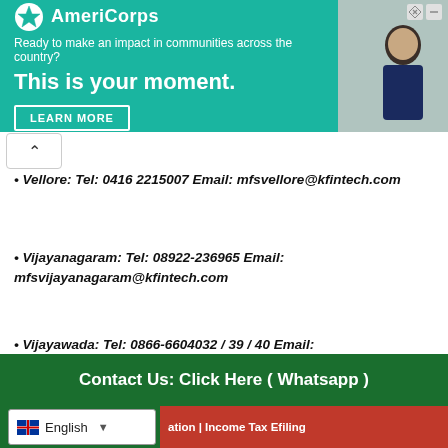[Figure (infographic): AmeriCorps advertisement banner with teal background. Logo shows AmeriCorps name with tagline 'Ready to make an impact in communities across the country?' and headline 'This is your moment.' with LEARN MORE button. Photo of person on right side.]
Vellore: Tel: 0416 2215007 Email: mfsvellore@kfintech.com
Vijayanagaram: Tel: 08922-236965 Email: mfsvijayanagaram@kfintech.com
Vijayawada: Tel: 0866-6604032 / 39 / 40 Email: vijayawadamfd@kfintech.com
Contact Us: Click Here ( Whatsapp )
English
ation | Income Tax Efiling